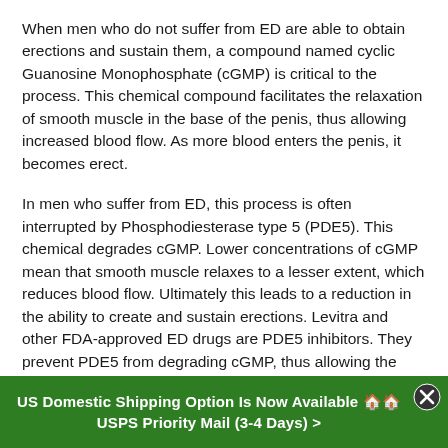When men who do not suffer from ED are able to obtain erections and sustain them, a compound named cyclic Guanosine Monophosphate (cGMP) is critical to the process. This chemical compound facilitates the relaxation of smooth muscle in the base of the penis, thus allowing increased blood flow. As more blood enters the penis, it becomes erect.
In men who suffer from ED, this process is often interrupted by Phosphodiesterase type 5 (PDE5). This chemical degrades cGMP. Lower concentrations of cGMP mean that smooth muscle relaxes to a lesser extent, which reduces blood flow. Ultimately this leads to a reduction in the ability to create and sustain erections. Levitra and other FDA-approved ED drugs are PDE5 inhibitors. They prevent PDE5 from degrading cGMP, thus allowing the process to take place uninterrupted.
The price of Levitra varies a great deal, depending on the
US Domestic Shipping Option Is Now Available 🏠🏠 USPS Priority Mail (3-4 Days) >